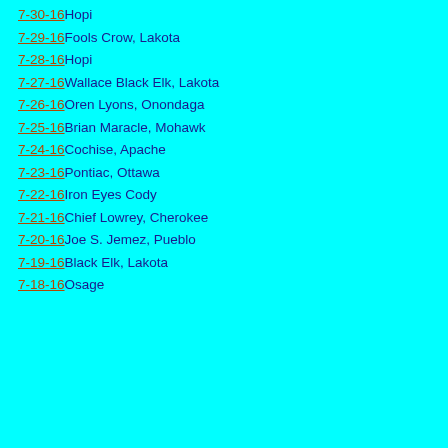7-30-16 Hopi
7-29-16 Fools Crow, Lakota
7-28-16 Hopi
7-27-16 Wallace Black Elk, Lakota
7-26-16 Oren Lyons, Onondaga
7-25-16 Brian Maracle, Mohawk
7-24-16 Cochise, Apache
7-23-16 Pontiac, Ottawa
7-22-16 Iron Eyes Cody
7-21-16 Chief Lowrey, Cherokee
7-20-16 Joe S. Jemez, Pueblo
7-19-16 Black Elk, Lakota
7-18-16 Osage